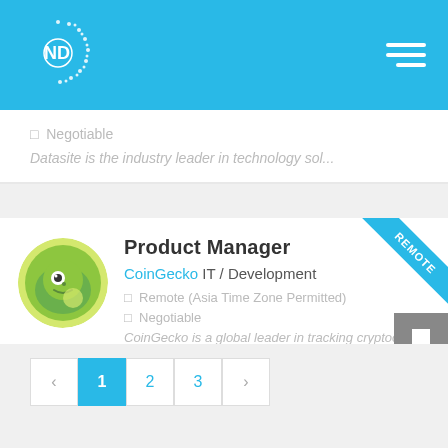[Figure (logo): ND logo with circular dot pattern on blue header background]
☐  Negotiable
Datasite is the industry leader in technology sol...
Product Manager
CoinGecko IT / Development
☐  Remote (Asia Time Zone Permitted)
☐  Negotiable
CoinGecko is a global leader in tracking cryptoc...
‹
1
2
3
›